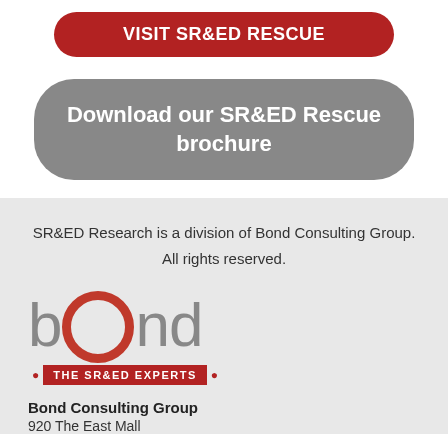VISIT SR&ED RESCUE
Download our SR&ED Rescue brochure
SR&ED Research is a division of Bond Consulting Group. All rights reserved.
[Figure (logo): Bond Consulting Group logo with gray 'bond' text, red circular 'o', and red banner reading 'THE SR&ED EXPERTS']
Bond Consulting Group
920 The East Mall